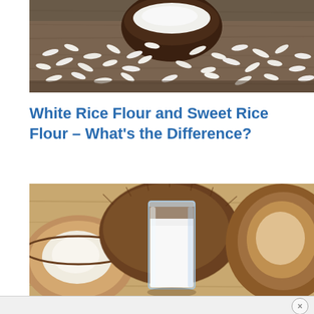[Figure (photo): Photo of white rice grains scattered on a wooden surface with a dark wooden bowl filled with white flour/rice flour]
White Rice Flour and Sweet Rice Flour – What's the Difference?
[Figure (photo): Photo of coconuts (whole and split open) with a glass of white coconut milk on a wooden surface]